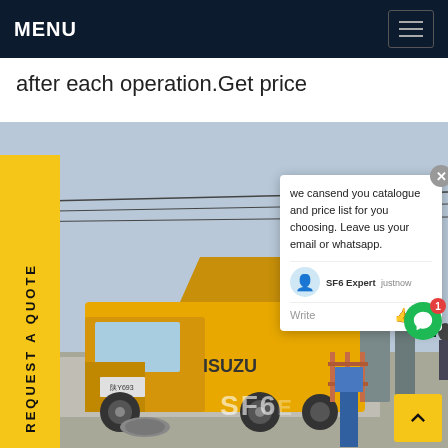MENU
after each operation.Get price
[Figure (photo): Yellow ISUZU truck with open side panels at an electrical substation. Workers visible near the truck and substation equipment. A chat popup overlay shows: 'we cansend you catalogue and price list for you choosing. Leave us your email or whatsapp.' with agent 'SF6 Expert' and time 'justnow'. A 'REQUEST A QUOTE' yellow vertical sidebar on the left. SF6 watermark at bottom.]